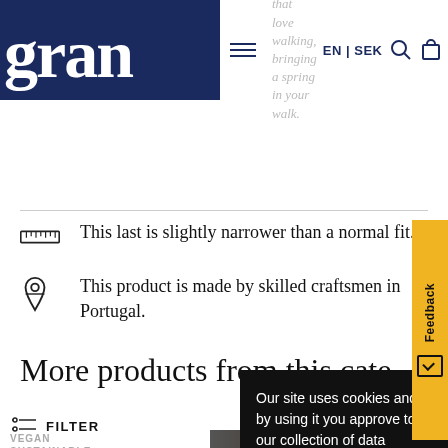gran | EN | SEK | shoes that love walking, bringing a spring in your walk
This last is slightly narrower than a normal fit.
This product is made by skilled craftsmen in Portugal.
More products from this category
FILTER
VEGAN SUSTAINABLE
Our site uses cookies and by using it you approve to our collection of data regarding your visit. To learn more click here.

I accept